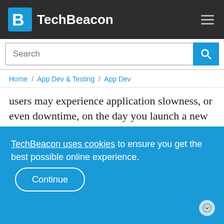TechBeacon
Search
Home / App Dev & Testing / App Dev
users may experience application slowness, or even downtime, on the day you launch a new release. Performance testing in pre-production is a must.
2. Having no methodology
TechBeacon uses cookies to ensure you get the best possible online experience. Continue